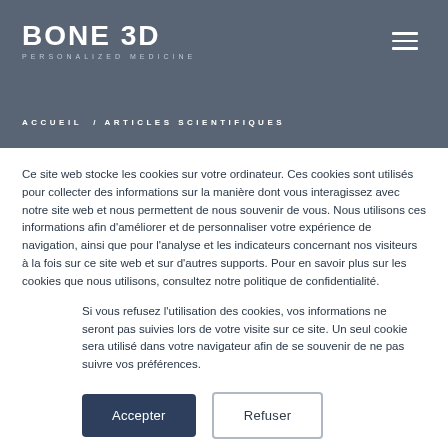[Figure (logo): BONE 3D Personalized Medicine logo in white on dark grey/blue background with hamburger menu icon top right]
ACCUEIL / ARTICLES SCIENTIFIQUES
Ce site web stocke les cookies sur votre ordinateur. Ces cookies sont utilisés pour collecter des informations sur la manière dont vous interagissez avec notre site web et nous permettent de nous souvenir de vous. Nous utilisons ces informations afin d'améliorer et de personnaliser votre expérience de navigation, ainsi que pour l'analyse et les indicateurs concernant nos visiteurs à la fois sur ce site web et sur d'autres supports. Pour en savoir plus sur les cookies que nous utilisons, consultez notre politique de confidentialité.
Si vous refusez l'utilisation des cookies, vos informations ne seront pas suivies lors de votre visite sur ce site. Un seul cookie sera utilisé dans votre navigateur afin de se souvenir de ne pas suivre vos préférences.
Accepter | Refuser